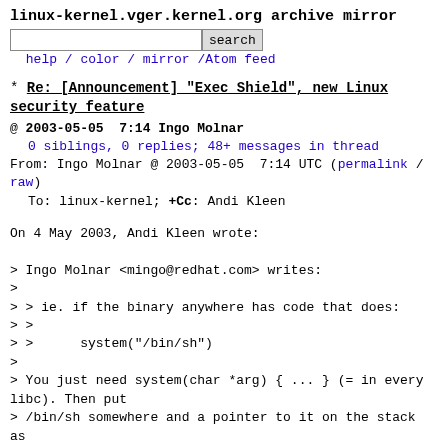linux-kernel.vger.kernel.org archive mirror
search  help / color / mirror / Atom feed
* Re: [Announcement] "Exec Shield", new Linux security feature
@ 2003-05-05  7:14 Ingo Molnar
  0 siblings, 0 replies; 48+ messages in thread
From: Ingo Molnar @ 2003-05-05  7:14 UTC (permalink / raw)
  To: linux-kernel; +Cc: Andi Kleen
On 4 May 2003, Andi Kleen wrote:

> Ingo Molnar <mingo@redhat.com> writes:
>
> > ie. if the binary anywhere has code that does:
> >
> >      system("/bin/sh")
>
> You just need system(char *arg) { ... } (= in every
libc). Then put
> /bin/sh somewhere and a pointer to it on the stack as
argument and
> overwrite some return address on the stack to jump to
it.

well, how do you put the pointer on the stack if your